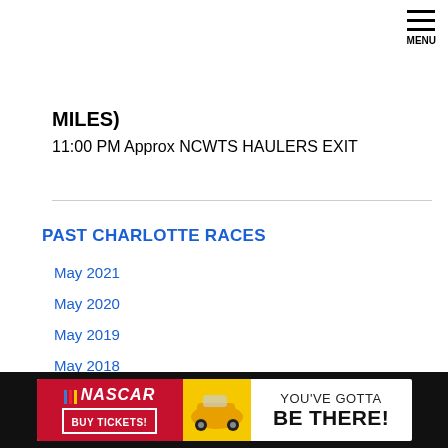MENU
MILES)
11:00 PM Approx NCWTS HAULERS EXIT
PAST CHARLOTTE RACES
May 2021
May 2020
May 2019
May 2018
Track News
Bret Michaels, 3 Doors Down Headline Rock the ROVAL. Bret…
[Figure (screenshot): NASCAR advertisement banner: NASCAR logo with racing stripes, 'YOU'VE GOTTA BE THERE!' text, red 'BUY TICKETS!' button]